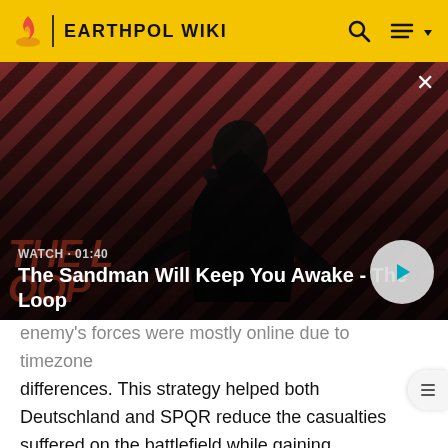EARTHPOL WIKI
[Figure (screenshot): Video thumbnail showing a dark-cloaked figure with a raven on shoulder against a red diagonal striped background. Text overlay: WATCH · 01:40 / The Sandman Will Keep You Awake - The Loop. Play button visible at right.]
The Sandman Will Keep You Awake - The Loop
enemy's forces were mostly online due to timezone differences. This strategy helped both Deutschland and SPQR reduce the casualties suffered on the battlefield while gaining thousands of decisive points, which would later give them time to resist in their most-inactive hours of the day.